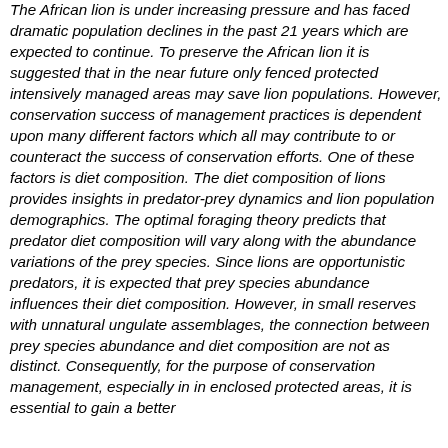The African lion is under increasing pressure and has faced dramatic population declines in the past 21 years which are expected to continue. To preserve the African lion it is suggested that in the near future only fenced protected intensively managed areas may save lion populations. However, conservation success of management practices is dependent upon many different factors which all may contribute to or counteract the success of conservation efforts. One of these factors is diet composition. The diet composition of lions provides insights in predator-prey dynamics and lion population demographics. The optimal foraging theory predicts that predator diet composition will vary along with the abundance variations of the prey species. Since lions are opportunistic predators, it is expected that prey species abundance influences their diet composition. However, in small reserves with unnatural ungulate assemblages, the connection between prey species abundance and diet composition are not as distinct. Consequently, for the purpose of conservation management, especially in in enclosed protected areas, it is essential to gain a better